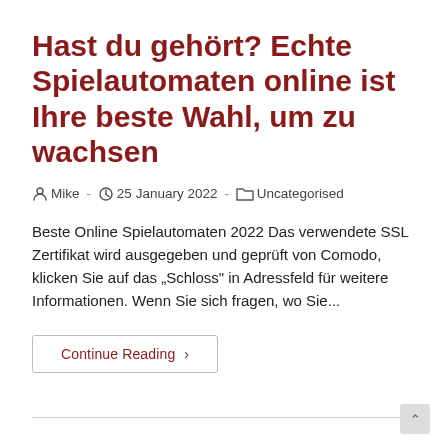Hast du gehört? Echte Spielautomaten online ist Ihre beste Wahl, um zu wachsen
Mike  ·  25 January 2022  ·  Uncategorised
Beste Online Spielautomaten 2022 Das verwendete SSL Zertifikat wird ausgegeben und geprüft von Comodo, klicken Sie auf das „Schloss" in Adressfeld für weitere Informationen. Wenn Sie sich fragen, wo Sie...
Continue Reading ›